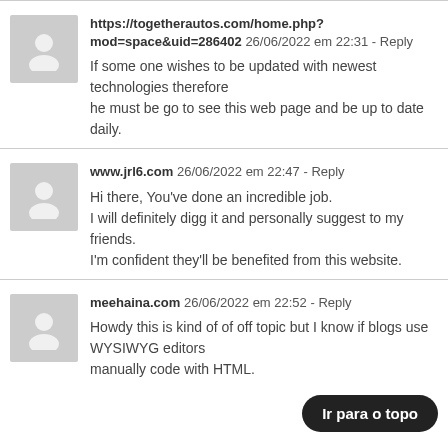https://togetherautos.com/home.php?mod=space&uid=286402  26/06/2022 em 22:31 - Reply
If some one wishes to be updated with newest technologies therefore he must be go to see this web page and be up to date daily.
www.jrl6.com  26/06/2022 em 22:47 - Reply
Hi there, You've done an incredible job.
I will definitely digg it and personally suggest to my friends.
I'm confident they'll be benefited from this website.
meehaina.com  26/06/2022 em 22:52 - Reply
Howdy this is kind of of off topic but I know if blogs use WYSIWYG editors manually code with HTML.